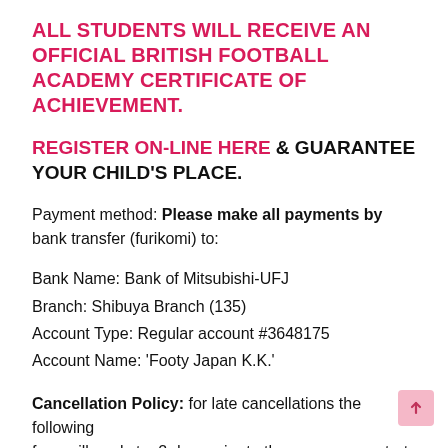ALL STUDENTS WILL RECEIVE AN OFFICIAL BRITISH FOOTBALL ACADEMY CERTIFICATE OF ACHIEVEMENT.
REGISTER ON-LINE HERE & GUARANTEE YOUR CHILD'S PLACE.
Payment method: Please make all payments by bank transfer (furikomi) to:
Bank Name: Bank of Mitsubishi-UFJ
Branch: Shibuya Branch (135)
Account Type: Regular account #3648175
Account Name: 'Footy Japan K.K.'
Cancellation Policy: for late cancellations the following fees will apply to: 2 days prior to the programme start